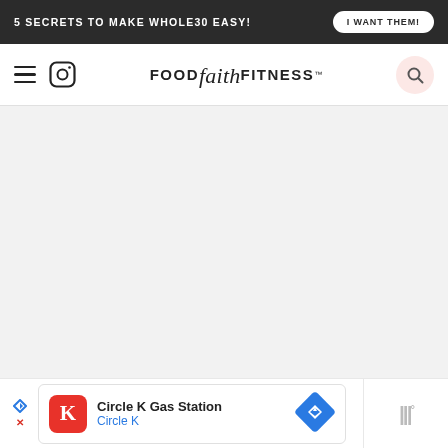5 SECRETS TO MAKE WHOLE30 EASY! | I WANT THEM!
FOOD faith FITNESS™
[Figure (screenshot): Empty light grey content area placeholder]
[Figure (screenshot): Advertisement bar showing Circle K Gas Station ad with Circle K logo, navigation arrow icon, and partial weather widget]